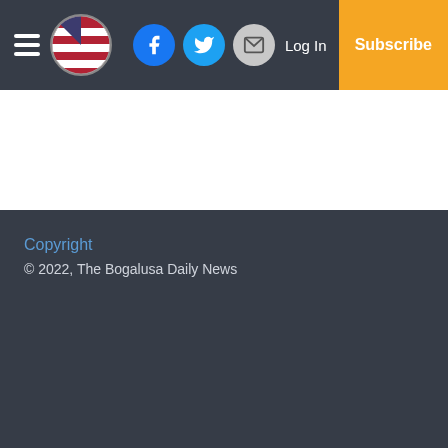☰ [Flag icon] [Facebook] [Twitter] [Email] Log In Subscribe
Copyright
© 2022, The Bogalusa Daily News